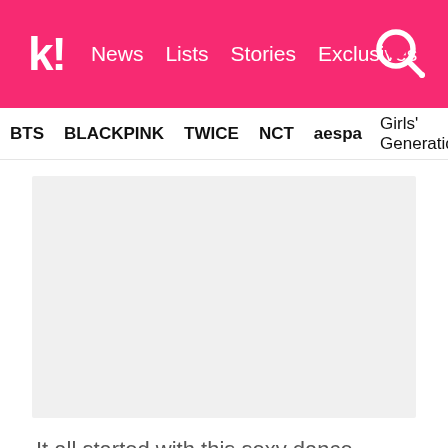k! | News  Lists  Stories  Exclusives
BTS  BLACKPINK  TWICE  NCT  aespa  Girls' Generation
[Figure (photo): Gray placeholder image area for an embedded video or photo]
It all started with this sexy dance between Nayeon and Jeongyeon.
Since the crowd seemed to love their dance together, the two gave them a little something extra during their performance.